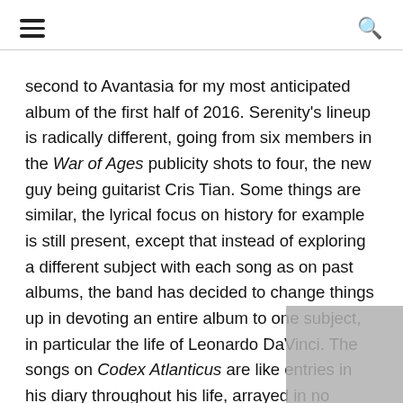≡  🔍
second to Avantasia for my most anticipated album of the first half of 2016. Serenity's lineup is radically different, going from six members in the War of Ages publicity shots to four, the new guy being guitarist Cris Tian. Some things are similar, the lyrical focus on history for example is still present, except that instead of exploring a different subject with each song as on past albums, the band has decided to change things up in devoting an entire album to one subject, in particular the life of Leonardo DaVinci. The songs on Codex Atlanticus are like entries in his diary throughout his life, arrayed in no particular order, so some songs might be from a younger or older perspective. Its a cool idea, I was instantly reminded of Assassin's Creed II where Da Vinci was a big part of the story line and you'd actually get to see him walking out and about in